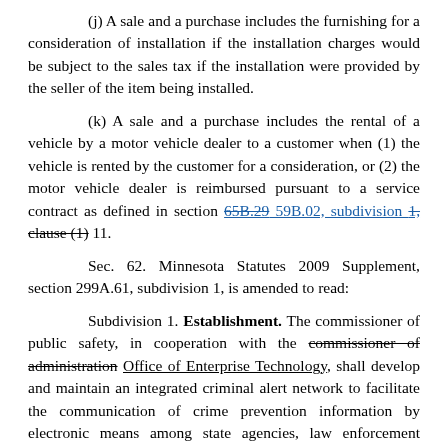(j) A sale and a purchase includes the furnishing for a consideration of installation if the installation charges would be subject to the sales tax if the installation were provided by the seller of the item being installed.
(k) A sale and a purchase includes the rental of a vehicle by a motor vehicle dealer to a customer when (1) the vehicle is rented by the customer for a consideration, or (2) the motor vehicle dealer is reimbursed pursuant to a service contract as defined in section 65B.29 59B.02, subdivision 1, clause (1) 11.
Sec. 62. Minnesota Statutes 2009 Supplement, section 299A.61, subdivision 1, is amended to read:
Subdivision 1. Establishment. The commissioner of public safety, in cooperation with the commissioner of administration Office of Enterprise Technology, shall develop and maintain an integrated criminal alert network to facilitate the communication of crime prevention information by electronic means among state agencies, law enforcement officials, and the private sector. The network shall disseminate data regarding the commission of crimes,